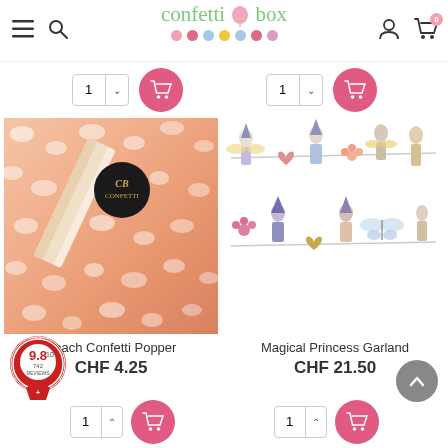confetti box - navigation header with logo, search, user and cart icons
[Figure (screenshot): Confetti Box website header with hamburger menu, search icon, logo text 'confetti box' with balloon graphic and colored dots, user icon and cart icon with badge '0']
[Figure (photo): Peach Confetti Popper product image showing peach-colored confetti pieces spread out with a cylindrical confetti popper with dark cap bearing gold script lettering]
Peach Confetti Popper
CHF 4.25
[Figure (photo): Magical Princess Garland product image showing a hanging garland with paper princess figures, hearts, flowers and butterfly decorations in pastel colors]
Magical Princess Garland
CHF 21.50
[Figure (logo): Guaranteed Reviews Company badge showing rating 9.8/10 based on 742 reviews, circular red badge with ribbon]